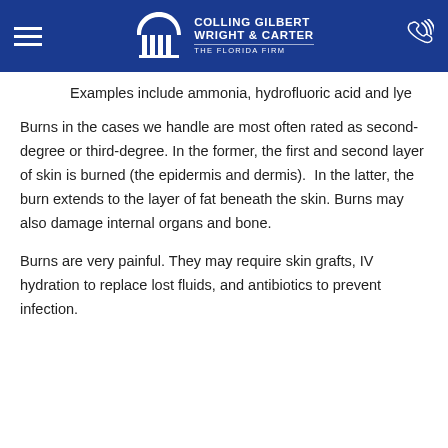Colling Gilbert Wright & Carter — The Florida Firm
Examples include ammonia, hydrofluoric acid and lye
Burns in the cases we handle are most often rated as second-degree or third-degree. In the former, the first and second layer of skin is burned (the epidermis and dermis). In the latter, the burn extends to the layer of fat beneath the skin. Burns may also damage internal organs and bone.
Burns are very painful. They may require skin grafts, IV hydration to replace lost fluids, and antibiotics to prevent infection.